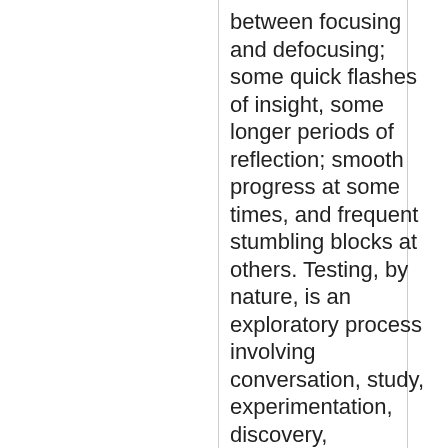between focusing and defocusing; some quick flashes of insight, some longer periods of reflection; smooth progress at some times, and frequent stumbling blocks at others. Testing, by nature, is an exploratory process involving conversation, study, experimentation, discovery, investigation that leads to more learning and more testing.

As for anything else I